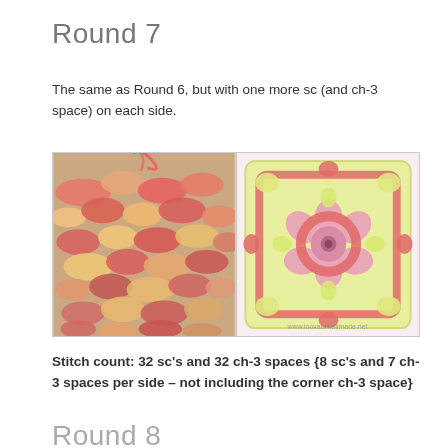Round 7
The same as Round 6, but with one more sc (and ch-3 space) on each side.
[Figure (photo): Two photos side by side showing crochet granny square. Left photo: close-up of crochet work in progress with coral/salmon and yellow yarn textures. Right photo: completed granny square with pink flower center, coral border, and light yellow-green background with watermark www.lookatwhatimade.net]
Stitch count:  32 sc's and 32 ch-3 spaces  {8 sc's and 7 ch-3 spaces per side – not including the corner ch-3 space}
Round 8